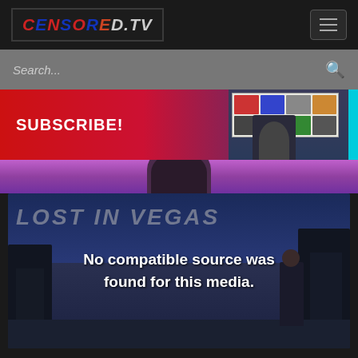[Figure (screenshot): CENSORED.TV logo in a dark bordered box with patriotic styling]
[Figure (screenshot): Hamburger menu button (three horizontal lines) on dark background]
[Figure (screenshot): Search bar with placeholder text 'Search...' and magnifying glass icon on grey background]
[Figure (screenshot): SUBSCRIBE! banner with red-to-dark gradient and a video thumbnail on the right showing a person in front of a shelf]
[Figure (screenshot): Video player showing 'LOST IN VEGAS' text overlay and error message 'No compatible source was found for this media.' over a Las Vegas cityscape background with a figure raising their arm]